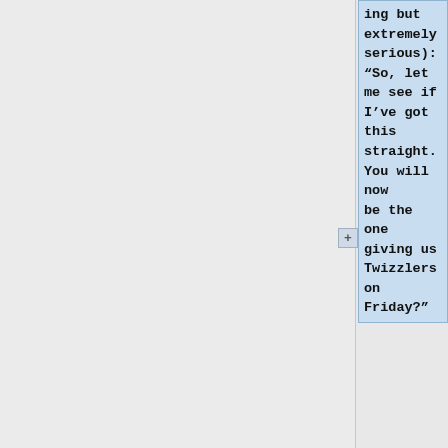ing but extremely serious): “So, let me see if I’ve got this straight. You will now be the one giving us Twizzlers on Friday?”
'''Ms. Adkins''': “Oh no, I don’t believe in rewarding